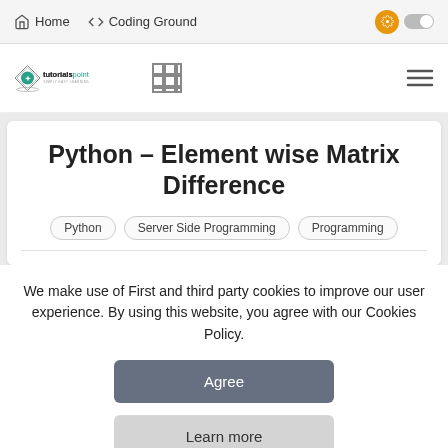Home   </> Coding Ground
[Figure (logo): tutorialspoint logo with diamond shape and text 'tutorialspoint SIMPLY EASY LEARNING']
Python – Element wise Matrix Difference
Python
Server Side Programming
Programming
We make use of First and third party cookies to improve our user experience. By using this website, you agree with our Cookies Policy.
Agree
Learn more